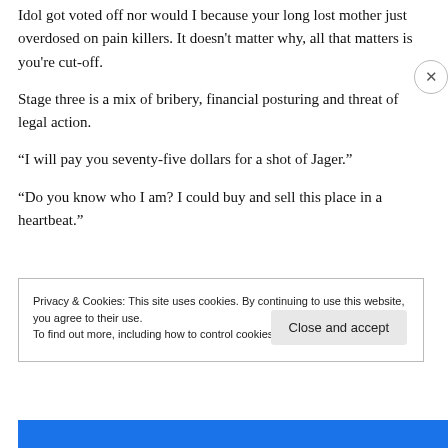Idol got voted off nor would I because your long lost mother just overdosed on pain killers. It doesn't matter why, all that matters is you're cut-off.
Stage three is a mix of bribery, financial posturing and threat of legal action.
“I will pay you seventy-five dollars for a shot of Jager.”
“Do you know who I am? I could buy and sell this place in a heartbeat.”
Privacy & Cookies: This site uses cookies. By continuing to use this website, you agree to their use.
To find out more, including how to control cookies, see here: Cookie Policy
Close and accept